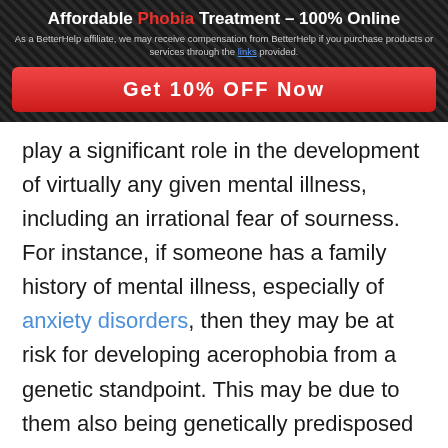Affordable Phobia Treatment – 100% Online
As a BetterHelp affiliate, we may receive compensation from BetterHelp if you purchase products or services through the links provided.
Get 10% OFF Now
play a significant role in the development of virtually any given mental illness, including an irrational fear of sourness. For instance, if someone has a family history of mental illness, especially of anxiety disorders, then they may be at risk for developing acerophobia from a genetic standpoint. This may be due to them also being genetically predisposed to developing mental illness in general.
If they were to have such a genetic predisposition, then it may only require that they